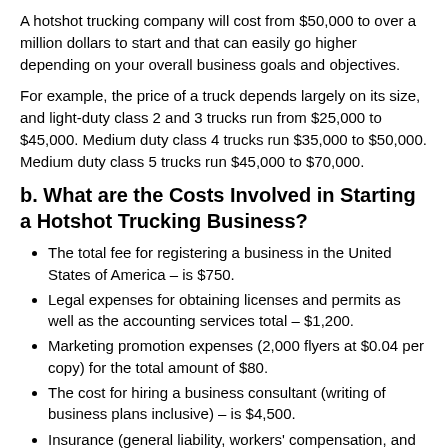A hotshot trucking company will cost from $50,000 to over a million dollars to start and that can easily go higher depending on your overall business goals and objectives.
For example, the price of a truck depends largely on its size, and light-duty class 2 and 3 trucks run from $25,000 to $45,000. Medium duty class 4 trucks run $35,000 to $50,000. Medium duty class 5 trucks run $45,000 to $70,000.
b. What are the Costs Involved in Starting a Hotshot Trucking Business?
The total fee for registering a business in the United States of America – is $750.
Legal expenses for obtaining licenses and permits as well as the accounting services total – $1,200.
Marketing promotion expenses (2,000 flyers at $0.04 per copy) for the total amount of $80.
The cost for hiring a business consultant (writing of business plans inclusive) – is $4,500.
Insurance (general liability, workers' compensation, and Motor Truck Cargo Insurance) coverage at a total premium – of $12,400.